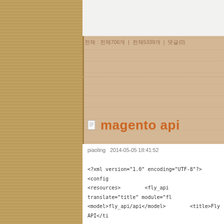[Figure (screenshot): Wood-textured bulletin board background with left wooden panel and screws]
전체 : 전체706개 | 전체5339개 | 댓글(0)
magento api
piaoling  2014-05-05 18:41:52
<?xml version="1.0" encoding="UTF-8"?> <config
<resources>        <fly_api translate="title" module="fl
<model>fly_api/api</model>        <title>Fly API</ti